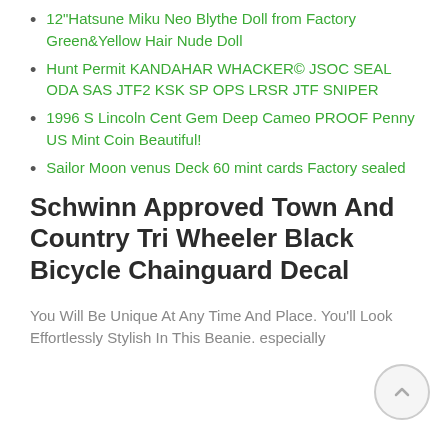12"Hatsune Miku Neo Blythe Doll from Factory Green&Yellow Hair Nude Doll
Hunt Permit KANDAHAR WHACKER© JSOC SEAL ODA SAS JTF2 KSK SP OPS LRSR JTF SNIPER
1996 S Lincoln Cent Gem Deep Cameo PROOF Penny US Mint Coin Beautiful!
Sailor Moon venus Deck 60 mint cards Factory sealed
Schwinn Approved Town And Country Tri Wheeler Black Bicycle Chainguard Decal
You Will Be Unique At Any Time And Place. You'll Look Effortlessly Stylish In This Beanie. especially